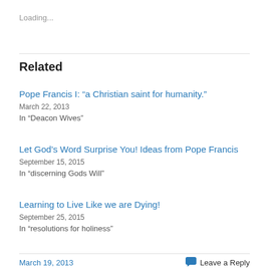Loading...
Related
Pope Francis I: “a Christian saint for humanity.”
March 22, 2013
In "Deacon Wives"
Let God’s Word Surprise You! Ideas from Pope Francis
September 15, 2015
In "discerning Gods Will"
Learning to Live Like we are Dying!
September 25, 2015
In "resolutions for holiness"
March 19, 2013   Leave a Reply